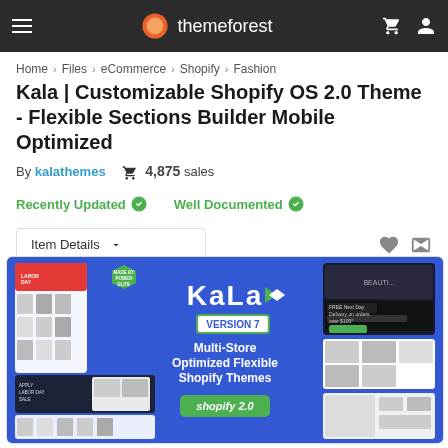themeforest
Home > Files > eCommerce > Shopify > Fashion
Kala | Customizable Shopify OS 2.0 Theme - Flexible Sections Builder Mobile Optimized
By kalathemes  4,875 sales
Recently Updated  Well Documented
Item Details
[Figure (screenshot): Kala theme promotional banner showing Version 7, Multi-Store Optimized Flexible Shopify Themes, shopify 2.0 badge, Made by Power Elite hexagon badge, and mockup screens on blue background]